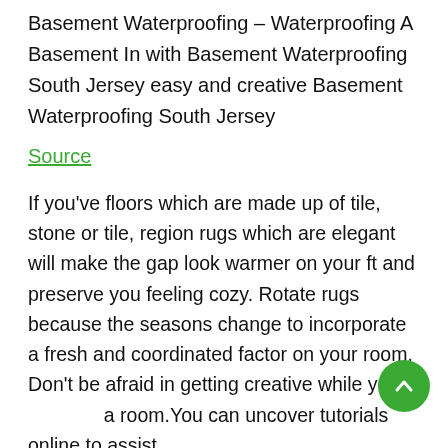Basement Waterproofing – Waterproofing A Basement In with Basement Waterproofing South Jersey easy and creative Basement Waterproofing South Jersey
Source
If you've floors which are made up of tile, stone or tile, region rugs which are elegant will make the gap look warmer on your ft and preserve you feeling cozy. Rotate rugs because the seasons change to incorporate a fresh and coordinated factor on your room.
Don't be afraid in getting creative while you'll a room.You can uncover tutorials online to assist